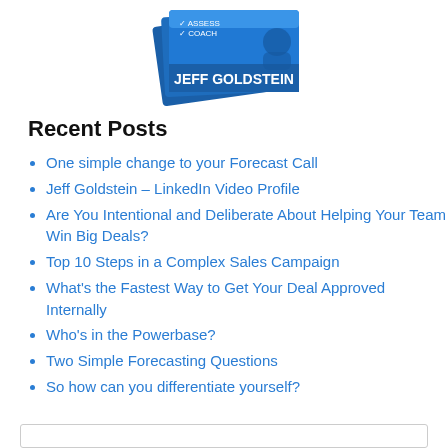[Figure (illustration): Book cover image showing Jeff Goldstein branding with blue design and checkmarks for ASSESS and COACH]
Recent Posts
One simple change to your Forecast Call
Jeff Goldstein – LinkedIn Video Profile
Are You Intentional and Deliberate About Helping Your Team Win Big Deals?
Top 10 Steps in a Complex Sales Campaign
What's the Fastest Way to Get Your Deal Approved Internally
Who's in the Powerbase?
Two Simple Forecasting Questions
So how can you differentiate yourself?